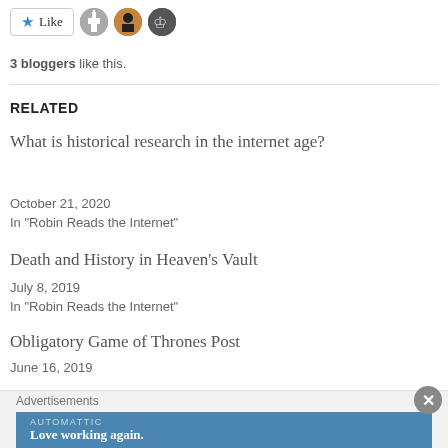[Figure (other): Like button with star icon and three blogger avatar thumbnails]
3 bloggers like this.
RELATED
What is historical research in the internet age?
October 21, 2020
In "Robin Reads the Internet"
Death and History in Heaven's Vault
July 8, 2019
In "Robin Reads the Internet"
Obligatory Game of Thrones Post
June 16, 2019
Advertisements
[Figure (other): Automattic advertisement banner: 'Love working again.']